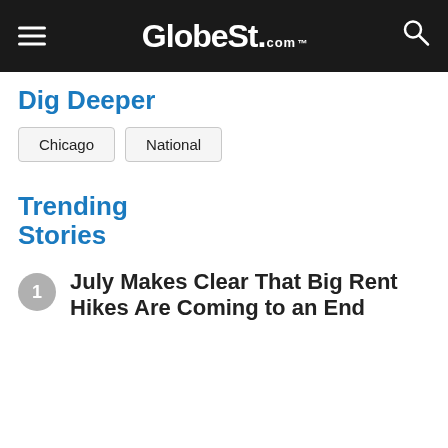GlobeSt.com™
Dig Deeper
Chicago
National
Trending Stories
1 July Makes Clear That Big Rent Hikes Are Coming to an End